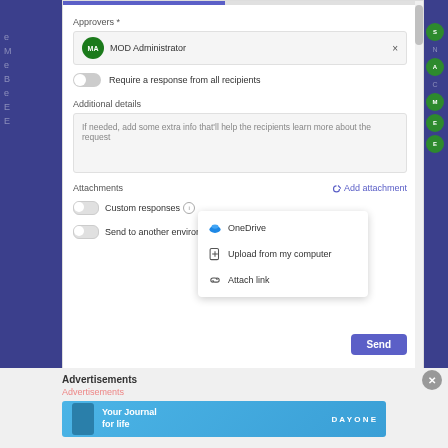[Figure (screenshot): Microsoft Teams approval form screenshot showing: Approvers field with MOD Administrator selected, toggle for 'Require a response from all recipients', Additional details textarea, Attachments section with Add attachment dropdown menu showing OneDrive, Upload from my computer, and Attach link options, Custom responses toggle, Send to another environment toggle, and Send button]
Advertisements
Advertisements
[Figure (photo): Advertisement banner for Day One - Your Journal for life app in light blue color]